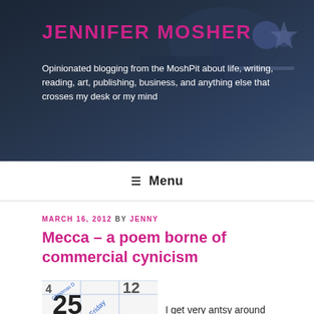[Figure (photo): Blog header background photo showing a dark marina/boat scene with blue tones]
JENNIFER MOSHER
Opinionated blogging from the MoshPit about life, writing, reading, art, publishing, business, and anything else that crosses my desk or my mind
≡ Menu
MARCH 16, 2012 BY JENNY
Mecca – a poem borne of commercial cynicism
[Figure (photo): Close-up photo of a calendar showing December 25 with 'Christmas Day' and 'Friday' labels in blue text]
I get very antsy around